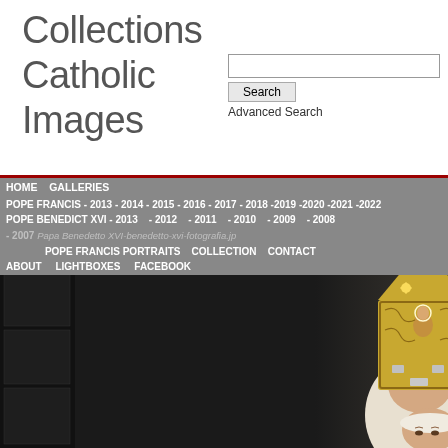Collections Catholic Images
Search  Advanced Search
HOME  GALLERIES  POPE FRANCIS - 2013 - 2014 - 2015 - 2016 - 2017 - 2018 -2019 -2020 -2021 -2022  POPE BENEDICT XVI - 2013  - 2012  - 2011  - 2010  - 2009  - 2008  - 2007  - 2006  POPE FRANCIS PORTRAITS  COLLECTION  CONTACT  ABOUT  LIGHTBOXES  FACEBOOK
[Figure (photo): Photo of Pope Benedict XVI wearing an ornate golden mitre with religious iconography, shown from shoulders up against a dark background. Left side shows dark/black area with thumbnail images.]